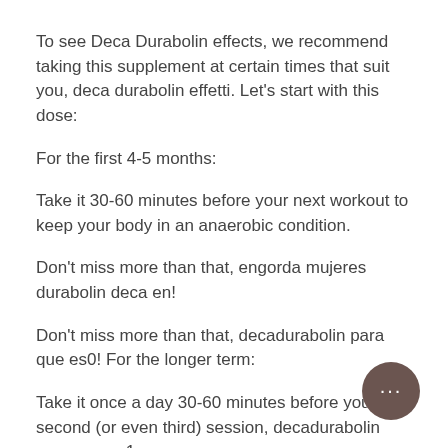To see Deca Durabolin effects, we recommend taking this supplement at certain times that suit you, deca durabolin effetti. Let’s start with this dose:
For the first 4-5 months:
Take it 30-60 minutes before your next workout to keep your body in an anaerobic condition.
Don’t miss more than that, engorda mujeres durabolin deca en!
Don’t miss more than that, decadurabolin para que es0! For the longer term:
Take it once a day 30-60 minutes before your second (or even third) session, decadurabolin para que es1.